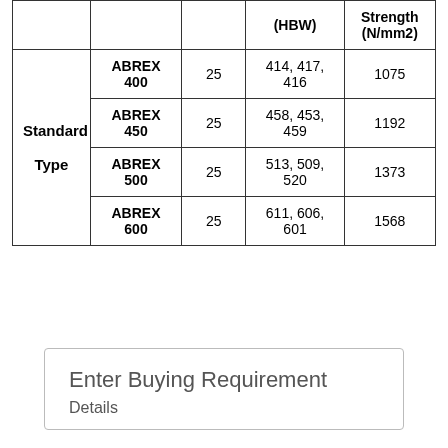|  | Grade | Thickness (mm) | Hardness (HBW) | Tensile Strength (N/mm2) |
| --- | --- | --- | --- | --- |
| Standard Type | ABREX 400 | 25 | 414, 417, 416 | 1075 |
| Standard Type | ABREX 450 | 25 | 458, 453, 459 | 1192 |
| Standard Type | ABREX 500 | 25 | 513, 509, 520 | 1373 |
| Standard Type | ABREX 600 | 25 | 611, 606, 601 | 1568 |
Enter Buying Requirement Details